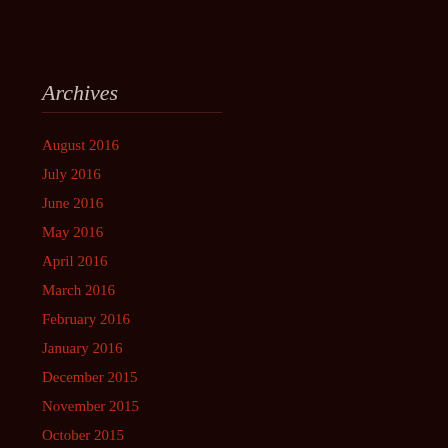Archives
August 2016
July 2016
June 2016
May 2016
April 2016
March 2016
February 2016
January 2016
December 2015
November 2015
October 2015